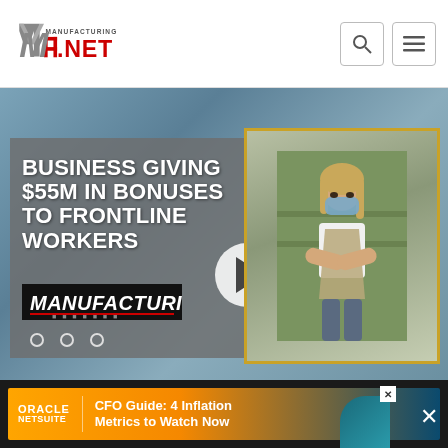Manufacturing.net
[Figure (screenshot): Video thumbnail showing text 'BUSINESS GIVING $55M IN BONUSES TO FRONTLINE WORKERS' with a play button and a masked woman in an apron with arms crossed, Manufacturing.net logo visible, with three navigation dots.]
VIDEO
Lowe's to Give Out $55M in Bonuses
In an effort to combat inflation...of inflation...
[Figure (other): Oracle NetSuite advertisement banner: CFO Guide: 4 Inflation Metrics to Watch Now]